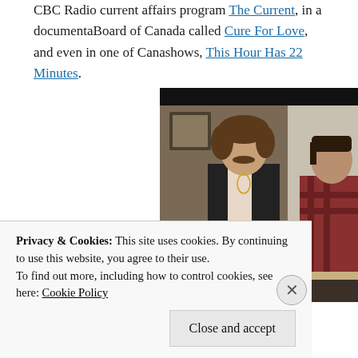CBC Radio current affairs program The Current, in a documentary from the National Film Board of Canada called Cure For Love, and even in one of Canada's longest-running comedy shows, This Hour Has 22 Minutes.
[Figure (photo): A still from a TV show showing two men sitting on a couch, one with curly hair and a mustache wearing a black vest, the other in a plaid shirt, in an indoor setting with curtains in the background.]
Privacy & Cookies: This site uses cookies. By continuing to use this website, you agree to their use.
To find out more, including how to control cookies, see here: Cookie Policy
Close and accept